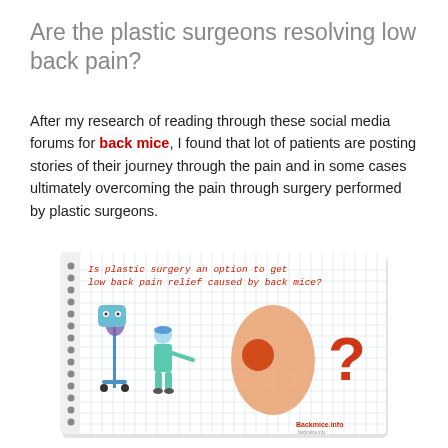Are the plastic surgeons resolving low back pain?
After my research of reading through these social media forums for back mice, I found that lot of patients are posting stories of their journey through the pain and in some cases ultimately overcoming the pain through surgery performed by plastic surgeons.
[Figure (illustration): A notebook-style illustration on grid paper showing a cartoon surgeon with medical equipment on the left, and an anatomical lower back with a red bump on the right, accompanied by a red question mark. Text on the illustration reads: 'Is plastic surgery an option to get low back pain relief caused by back mice?' with a Backmice.info logo in the bottom right corner.]